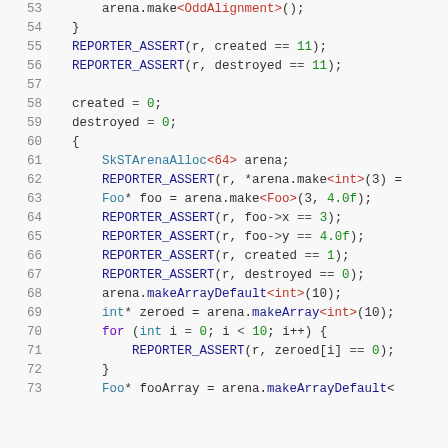Code listing lines 53-73: C++ arena allocator test code